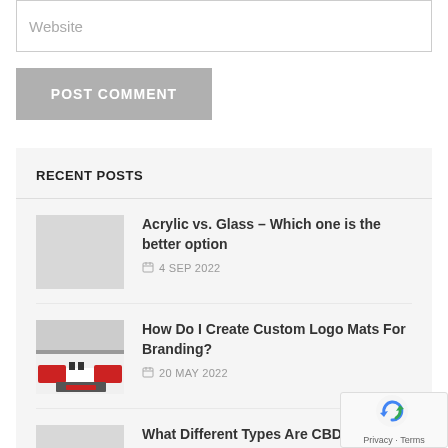Website
POST COMMENT
RECENT POSTS
Acrylic vs. Glass – Which one is the better option
4 SEP 2022
How Do I Create Custom Logo Mats For Branding?
20 MAY 2022
What Different Types Are CBD?
14 JAN 2022